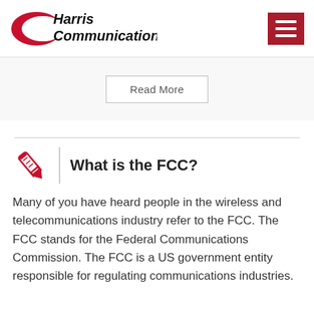[Figure (logo): Harris Communications logo with red swoosh and black text]
Read More
What is the FCC?
Many of you have heard people in the wireless and telecommunications industry refer to the FCC.  The FCC stands for the Federal Communications Commission.  The FCC is a US government entity responsible for regulating communications industries.